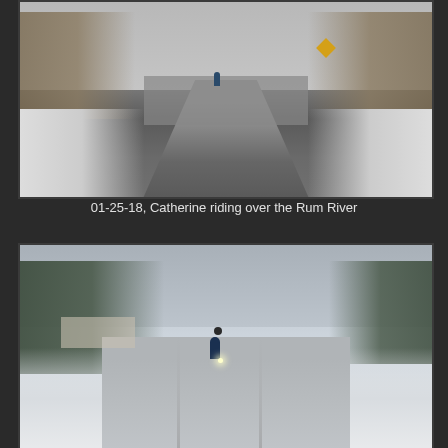[Figure (photo): Winter outdoor photo of a cyclist riding over a bridge on a snow-covered path. Trees line both sides. A yellow warning sign is visible on the right. Shot from behind the rider, looking down a narrowing path.]
01-25-18, Catherine riding over the Rum River
[Figure (photo): Winter outdoor photo of a cyclist riding toward the camera on a snow-covered road. Trees in the background. The cyclist has a headlight on. Wide snowy landscape on both sides.]